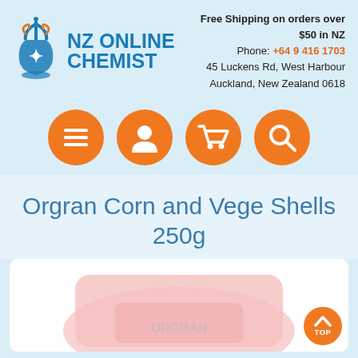[Figure (logo): NZ Online Chemist logo with caduceus/pharmacy symbol in blue and orange, text reads NZ ONLINE CHEMIST in dark blue]
Free Shipping on orders over $50 in NZ
Phone: +64 9 416 1703
45 Luckens Rd, West Harbour
Auckland, New Zealand 0618
[Figure (infographic): Four orange circular navigation buttons: menu (hamburger), account (person), cart (shopping cart), search (magnifying glass)]
Orgran Corn and Vege Shells 250g
[Figure (photo): Product image of Orgran Corn and Vege Shells 250g packet, pink packaging, partially visible]